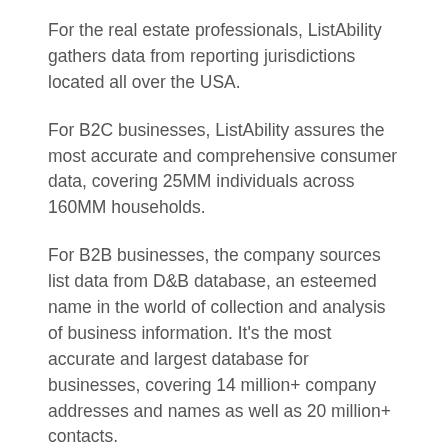For the real estate professionals, ListAbility gathers data from reporting jurisdictions located all over the USA.
For B2C businesses, ListAbility assures the most accurate and comprehensive consumer data, covering 25MM individuals across 160MM households.
For B2B businesses, the company sources list data from D&B database, an esteemed name in the world of collection and analysis of business information. It's the most accurate and largest database for businesses, covering 14 million+ company addresses and names as well as 20 million+ contacts.